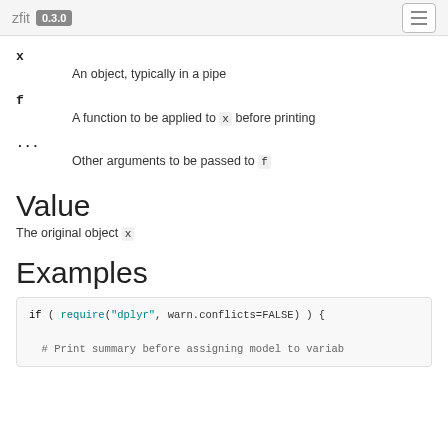zfit 0.3.0
x — An object, typically in a pipe
f — A function to be applied to x before printing
... — Other arguments to be passed to f
Value
The original object x
Examples
if ( require("dplyr", warn.conflicts=FALSE) ) {

  # Print summary before assigning model to variable